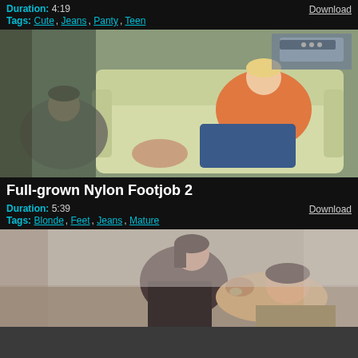Duration: 4:19   Tags: Cute, Jeans, Panty, Teen   Download
[Figure (photo): Video thumbnail showing two people on a white sofa, woman in orange top and jeans]
Full-grown Nylon Footjob 2
Duration: 5:39   Tags: Blonde, Feet, Jeans, Mature   Download
[Figure (photo): Video thumbnail showing two people on a couch, close together]